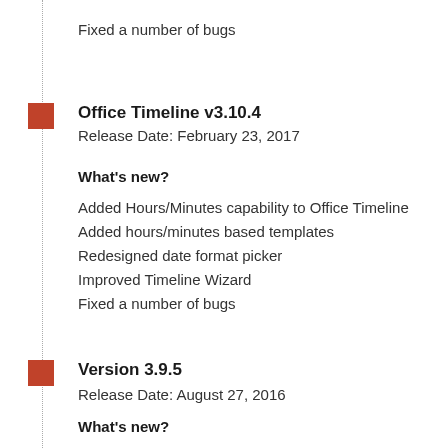Fixed a number of bugs
Office Timeline v3.10.4
Release Date: February 23, 2017
What's new?
Added Hours/Minutes capability to Office Timeline
Added hours/minutes based templates
Redesigned date format picker
Improved Timeline Wizard
Fixed a number of bugs
Version 3.9.5
Release Date: August 27, 2016
What's new?